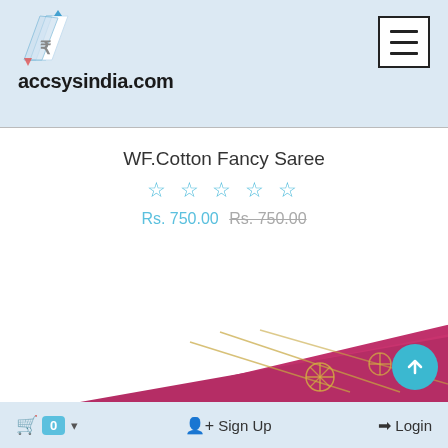accsysindia.com
WF.Cotton Fancy Saree
☆ ☆ ☆ ☆ ☆
Rs. 750.00 Rs. 750.00
[Figure (photo): Bottom portion of a pink/magenta saree with gold print pattern visible at the bottom of the page]
🛒 0 ▾   Sign Up   Login